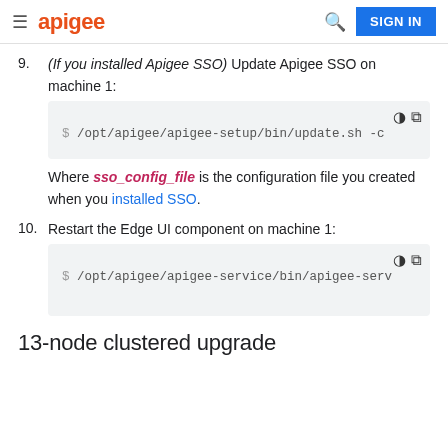apigee | SIGN IN
9. (If you installed Apigee SSO) Update Apigee SSO on machine 1:
[Figure (screenshot): Code block: $ /opt/apigee/apigee-setup/bin/update.sh -c]
Where sso_config_file is the configuration file you created when you installed SSO.
10. Restart the Edge UI component on machine 1:
[Figure (screenshot): Code block: $ /opt/apigee/apigee-service/bin/apigee-serv]
13-node clustered upgrade